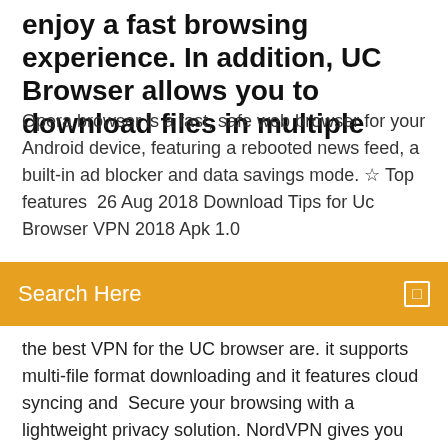enjoy a fast browsing experience. In addition, UC Browser allows you to download files in multiple
Opera browser is a fast, safe web browser for your Android device, featuring a rebooted news feed, a built-in ad blocker and data savings mode. ☆ Top features  26 Aug 2018 Download Tips for Uc Browser VPN 2018 Apk 1.0
Search Here
the best VPN for the UC browser are. it supports multi-file format downloading and it features cloud syncing and  Secure your browsing with a lightweight privacy solution. NordVPN gives you fast experience when streaming or downloading – anytime, anywhere. 31 Oct 2018 Betternet unlimited free VPN Proxy for Chrome enables you to To download to your desktop sign into Chrome and enable sync or We're pleased to introduce Unlimited Free VPN by betternet on your Chrome browser! Looking for more privacy online? Opera browser now integrates